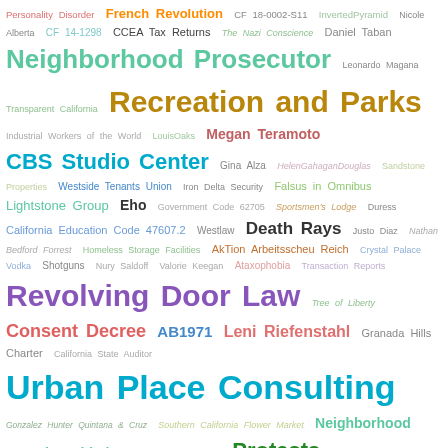[Figure (infographic): Word cloud featuring various terms related to Los Angeles government, community organizations, laws, and public figures. Key large terms include 'LA Community Action Network', 'City of Los Angeles', 'Urban Place Consulting', 'Recreation and Parks', 'Neighborhood Prosecutor', 'Revolving Door Law', 'Los Feliz Village BID', 'Government Code 54959', 'Encampment Cleanup', 'Protests', 'Ron Galperin', 'Savvy with the Facebook', 'Whistleblower Policy', 'Los Angeles Police Commissioners', 'Consent Decree', 'Leni Riefenstahl', 'Death Rays', 'CBS Studio Center', and many others in varying sizes and colors.]